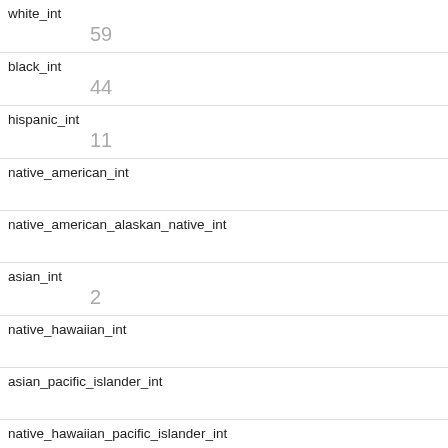| Field | Value |
| --- | --- |
| white_int | 59 |
| black_int | 44 |
| hispanic_int | 11 |
| native_american_int |  |
| native_american_alaskan_native_int |  |
| asian_int | 2 |
| native_hawaiian_int |  |
| asian_pacific_islander_int |  |
| native_hawaiian_pacific_islander_int |  |
| pacific_islander_int |  |
| multiracial_int |  |